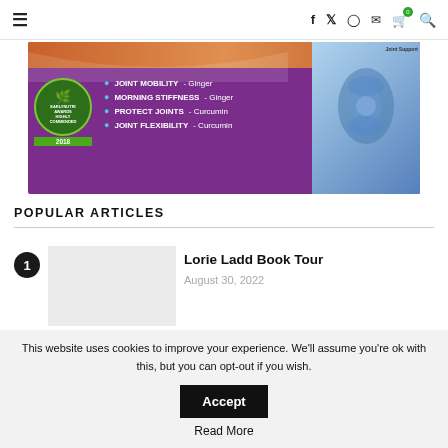Navigation bar with hamburger menu, social icons (f, Twitter, Instagram, mail, cart with badge 0, search)
[Figure (illustration): Advertisement banner for a joint support supplement. Purple background. Lists: JOINT MOBILITY - Ginger, MORNING STIFFNESS - Ginger, PROTECT JOINTS - Curcumin, JOINT FLEXIBILITY - Curcumin. Badge: Highly Commended 2018. Right side shows a blue anatomical knee joint image.]
POPULAR ARTICLES
Lorie Ladd Book Tour
August 30, 2022
This website uses cookies to improve your experience. We’ll assume you’re ok with this, but you can opt-out if you wish.
Accept
Read More